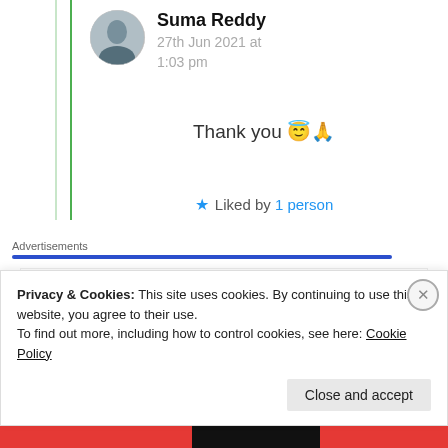Suma Reddy
27th Jun 2021 at 1:03 pm
Thank you 😇🙏
★ Liked by 1 person
Advertisements
[Figure (logo): Pressable logo with P icon and name, followed by dots]
The Platform
Privacy & Cookies: This site uses cookies. By continuing to use this website, you agree to their use. To find out more, including how to control cookies, see here: Cookie Policy
Close and accept